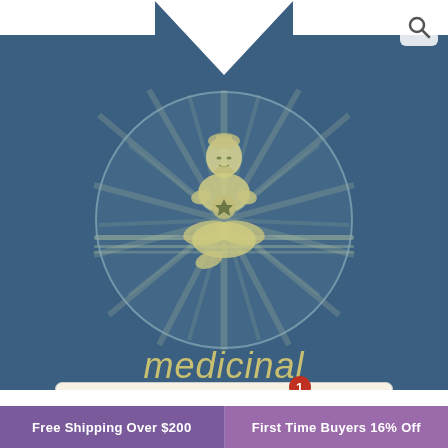[Figure (photo): Steel blue v-neck t-shirt with a circular meditation/yoga figure graphic and the word 'medicinal' printed on the front. A search icon is visible in the top right corner. A 'View Cart' button with a red badge showing '1' overlays the bottom of the shirt image.]
medicinal
View Cart
Free Shipping Over $200
First Time Buyers 16% Off